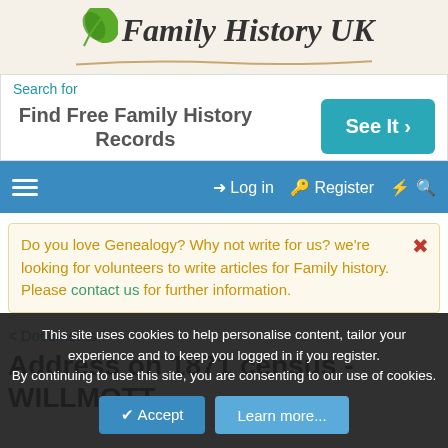[Figure (logo): Family History UK logo with green leaf and brown vine underline]
[Figure (screenshot): Advertisement: Find Free Family History Records - See It button]
Log in  Register
Do you love Genealogy? Why not write for us? we're looking for volunteers to write articles for Family history. Please contact us for further information.
< Documents
Address on 1871 census - WILLMOTT
This site uses cookies to help personalise content, tailor your experience and to keep you logged in if you register. By continuing to use this site, you are consenting to our use of cookies.